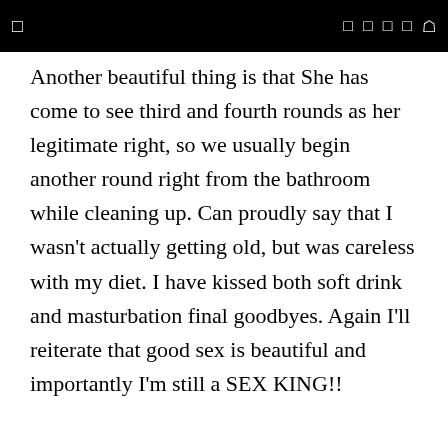Another beautiful thing is that She has come to see third and fourth rounds as her legitimate right, so we usually begin another round right from the bathroom while cleaning up. Can proudly say that I wasn't actually getting old, but was careless with my diet. I have kissed both soft drink and masturbation final goodbyes. Again I'll reiterate that good sex is beautiful and importantly I'm still a SEX KING!!